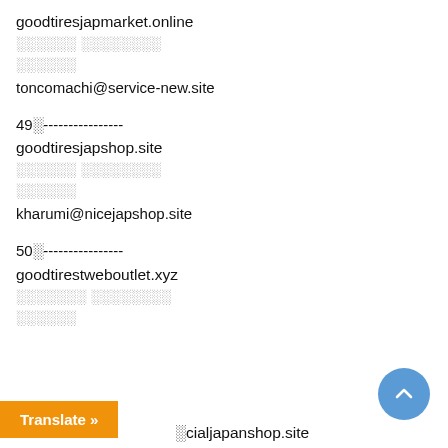goodtiresjapmarket.online
░░░░░░ ░░░░░░░░
░░░░░░
toncomachi@service-new.site
49░----------------
goodtiresjapshop.site
░░░░░░ ░░░░░░░░
░░░░░░
kharumi@nicejapshop.site
50░----------------
goodtirestweboutlet.xyz
░░░░░░░ ░░░░░░░░
░░░░░░
░cialjapanshop.site